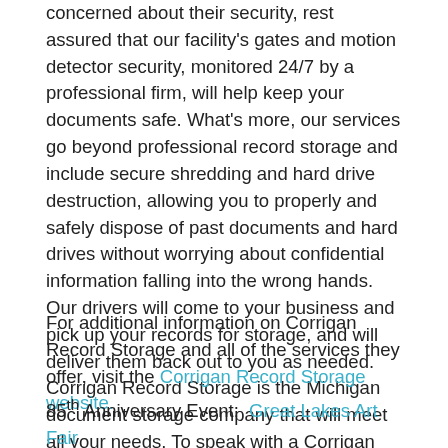concerned about their security, rest assured that our facility's gates and motion detector security, monitored 24/7 by a professional firm, will help keep your documents safe. What's more, our services go beyond professional record storage and include secure shredding and hard drive destruction, allowing you to properly and safely dispose of past documents and hard drives without worrying about confidential information falling into the wrong hands. Our drivers will come to your business and pick up your records for storage, and will deliver them back out to you as needed. Corrigan Record Storage is the Michigan document storage company that will meet all your needs. To speak with a Corrigan specialist regarding record storage or shredding for your business, contact General Manager Chris Rauch today.
For additional information on Corrigan Record Storage and all of the services they offer, visit the Corrigan Record Storage website.
85th Anniversary Event:  Great Lakes Art Fair